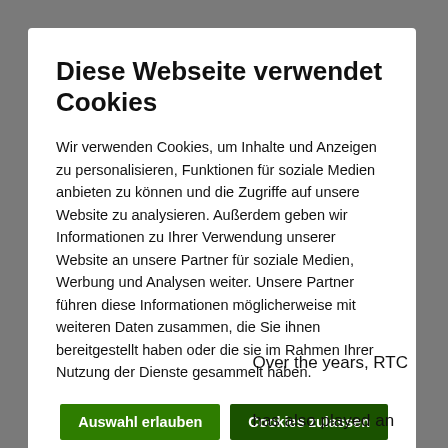Diese Webseite verwendet Cookies
Wir verwenden Cookies, um Inhalte und Anzeigen zu personalisieren, Funktionen für soziale Medien anbieten zu können und die Zugriffe auf unsere Website zu analysieren. Außerdem geben wir Informationen zu Ihrer Verwendung unserer Website an unsere Partner für soziale Medien, Werbung und Analysen weiter. Unsere Partner führen diese Informationen möglicherweise mit weiteren Daten zusammen, die Sie ihnen bereitgestellt haben oder die sie im Rahmen Ihrer Nutzung der Dienste gesammelt haben.
Auswahl erlauben | Cookies zulassen
✓ Notwendig  □ Präferenzen  □ Statistiken  □ Marketing  Details zeigen ˅
Over the years, RTC

has also played an